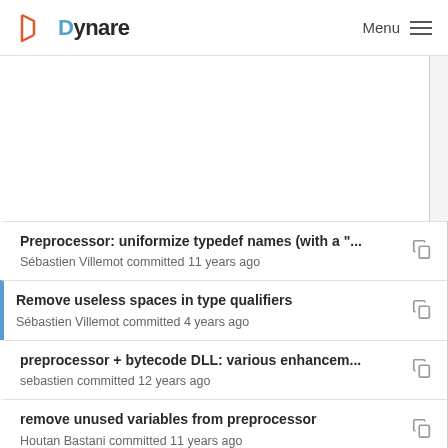Dynare  Menu
[Figure (other): Blank white content region (advertisement or empty area)]
Preprocessor: uniformize typedef names (with a "...  Sébastien Villemot committed 11 years ago
Remove useless spaces in type qualifiers  Sébastien Villemot committed 4 years ago
preprocessor + bytecode DLL: various enhancem...  sebastien committed 12 years ago
remove unused variables from preprocessor  Houtan Bastani committed 11 years ago
preprocessor + bytecode DLL: various enhancem...